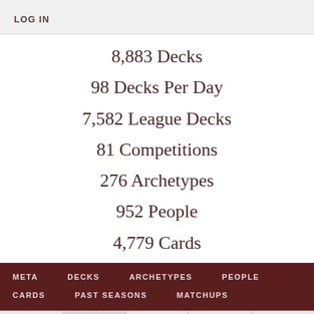LOG IN
8,883 Decks
98 Decks Per Day
7,582 League Decks
81 Competitions
276 Archetypes
952 People
4,779 Cards
META  DECKS  ARCHETYPES  PEOPLE  CARDS  PAST SEASONS  MATCHUPS
METAGAME  LEAGUE  COMPETITION  RESOURCES  ABOUT